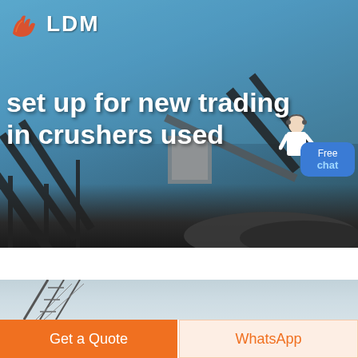[Figure (photo): Industrial conveyor belt and crusher machinery at a mining or quarrying site against a blue sky, with piles of aggregate/stone in the foreground. Logo 'LDM' with orange hand/flame icon visible in top-left. White overlay text reads 'set up for new trading in crushers used'. A 'Free chat' blue bubble button with a customer service agent figure on the right side.]
set up for new trading in crushers used
[Figure (photo): Partial view of industrial crane or conveyor structure against a light grey/white sky — bottom portion of page second hero image.]
Get a Quote
WhatsApp